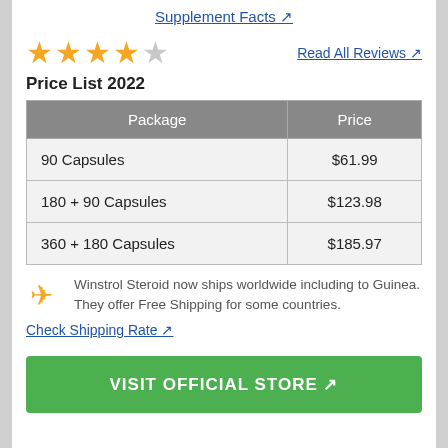Supplement Facts ↗
[Figure (other): 4.5 out of 5 stars rating]
Read All Reviews ↗
Price List 2022
| Package | Price |
| --- | --- |
| 90 Capsules | $61.99 |
| 180 + 90 Capsules | $123.98 |
| 360 + 180 Capsules | $185.97 |
Winstrol Steroid now ships worldwide including to Guinea. They offer Free Shipping for some countries.
Check Shipping Rate ↗
VISIT OFFICIAL STORE ↗